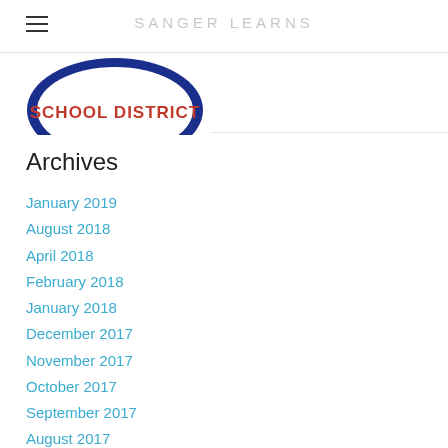SANGER LEARNS
[Figure (logo): Sanger Unified School District logo — circular blue and white badge with 'SCHOOL DISTRICT' text in red on white background]
Archives
January 2019
August 2018
April 2018
February 2018
January 2018
December 2017
November 2017
October 2017
September 2017
August 2017
June 2017
March 2017
February 2017
November 2016